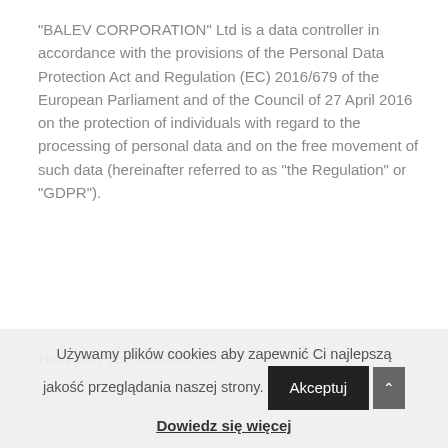“BALEV CORPORATION” Ltd is a data controller in accordance with the provisions of the Personal Data Protection Act and Regulation (EC) 2016/679 of the European Parliament and of the Council of 27 April 2016 on the protection of individuals with regard to the processing of personal data and on the free movement of such data (hereinafter referred to as “the Regulation” or “GDPR”).
How can you contact us?
Address: city of Varna, No. 260 Vladislav Varnenchik Blvd. Tel. +359 888 747644, e-mail:
Używamy plików cookies aby zapewnić Ci najlepszą jakość przeglądania naszej strony.
Dowiedz się więcej